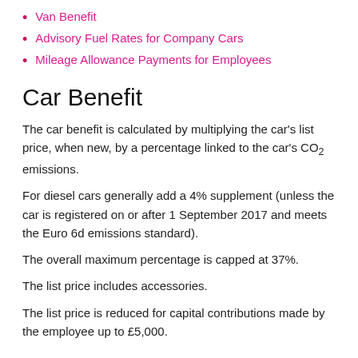Van Benefit
Advisory Fuel Rates for Company Cars
Mileage Allowance Payments for Employees
Car Benefit
The car benefit is calculated by multiplying the car's list price, when new, by a percentage linked to the car's CO₂ emissions.
For diesel cars generally add a 4% supplement (unless the car is registered on or after 1 September 2017 and meets the Euro 6d emissions standard).
The overall maximum percentage is capped at 37%.
The list price includes accessories.
The list price is reduced for capital contributions made by the employee up to £5,000.